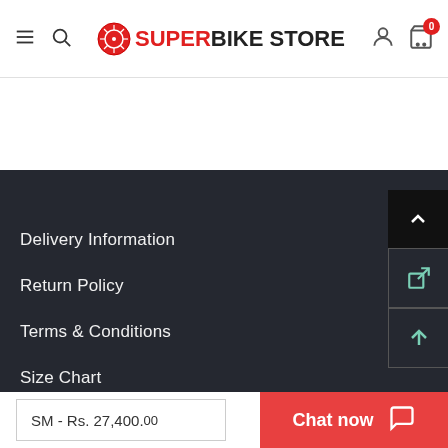SUPERBIKE STORE - website header with navigation
Delivery Information
Return Policy
Terms & Conditions
Size Chart
My Account
SM - Rs. 27,400.00  |  Chat now